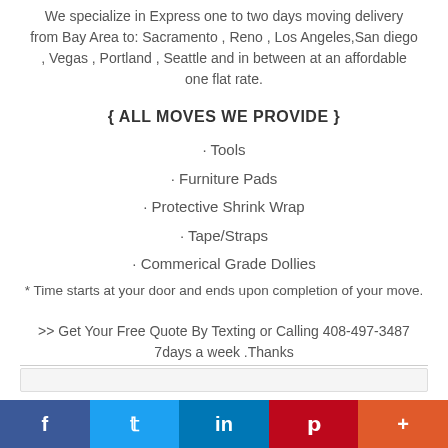We specialize in Express one to two days moving delivery from Bay Area to: Sacramento , Reno , Los Angeles,San diego , Vegas , Portland , Seattle and in between at an affordable one flat rate.
{ ALL MOVES WE PROVIDE }
· Tools
· Furniture Pads
· Protective Shrink Wrap
· Tape/Straps
· Commerical Grade Dollies
* Time starts at your door and ends upon completion of your move.
>> Get Your Free Quote By Texting or Calling 408-497-3487 7days a week .Thanks